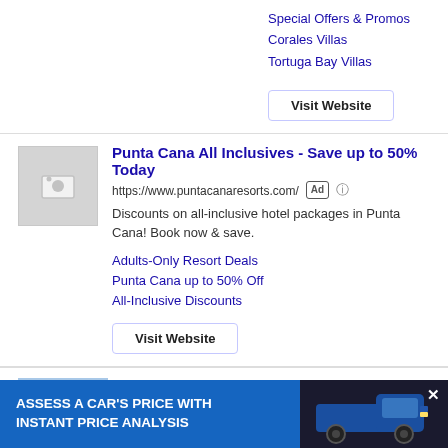Special Offers & Promos
Corales Villas
Tortuga Bay Villas
Visit Website
Punta Cana All Inclusives - Save up to 50% Today
https://www.puntacanaresorts.com/
Discounts on all-inclusive hotel packages in Punta Cana! Book now & save.
Adults-Only Resort Deals
Punta Cana up to 50% Off
All-Inclusive Discounts
Visit Website
Please Contact 3 Bedroom Ocean View Villa with
[Figure (infographic): Blue banner advertisement: ASSESS A CAR'S PRICE WITH INSTANT PRICE ANALYSIS, with a blue pickup truck image on the right and an X close button.]